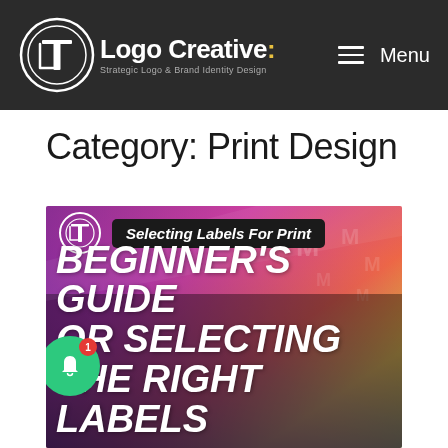Logo Creative: Strategic Logo & Brand Identity Design | Menu
Category: Print Design
[Figure (screenshot): Article thumbnail image with colorful gradient background (purple, pink, green, yellow). Top banner shows Logo Creative logo circle and italic bold text 'Selecting Labels For Print' in a dark pill. Large bold italic white uppercase text reads 'BEGINNER'S GUIDE OR SELECTING THE RIGHT LABELS'. A green notification bell icon with red badge '1' overlays the bottom-left corner.]